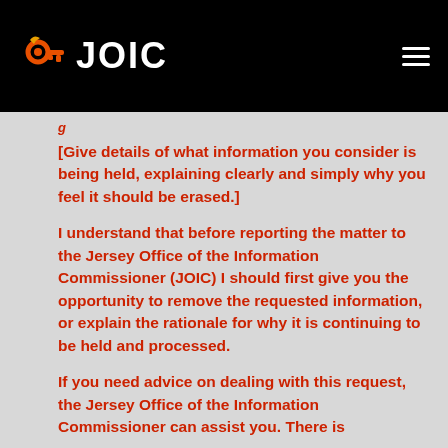JOIC
g
[Give details of what information you consider is being held, explaining clearly and simply why you feel it should be erased.]
I understand that before reporting the matter to the Jersey Office of the Information Commissioner (JOIC) I should first give you the opportunity to remove the requested information, or explain the rationale for why it is continuing to be held and processed.
If you need advice on dealing with this request, the Jersey Office of the Information Commissioner can assist you. There is